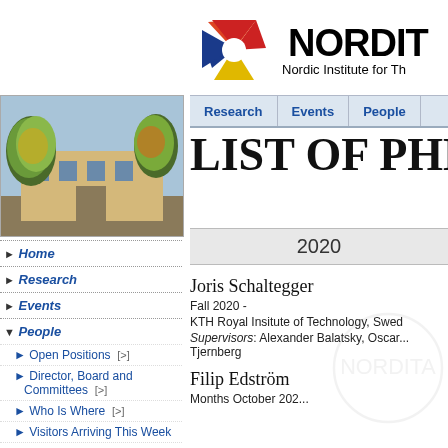[Figure (logo): NORDITA logo with colorful star/pinwheel shape and text 'NORDITA Nordic Institute for Th...']
[Figure (photo): Photo of a building with trees in autumn foliage]
Research  Events  People
LIST OF PHD
2020
▶ Home
▶ Research
▶ Events
▼ People
▶ Open Positions  [>]
▶ Director, Board and Committees  [>]
▶ Who Is Where  [>]
▶ Visitors Arriving This Week
▶ List of Staff by Position
Joris Schaltegger
Fall 2020 -
KTH Royal Insitute of Technology, Swed...
Supervisors: Alexander Balatsky, Oscar... Tjernberg
Filip Edström
Months October 202...